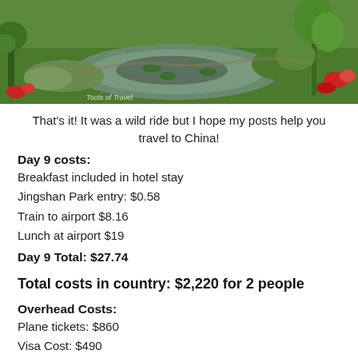[Figure (photo): Garden scene with pond, green lawn, tropical plants, lily pads, and red flowers. Watermark text visible in lower left corner reading 'Tools of Travel'.]
That's it! It was a wild ride but I hope my posts help you travel to China!
Day 9 costs:
Breakfast included in hotel stay
Jingshan Park entry: $0.58
Train to airport $8.16
Lunch at airport $19
Day 9 Total: $27.74
Total costs in country: $2,220 for 2 people
Overhead Costs:
Plane tickets: $860
Visa Cost: $490
Dog Sitter: $120